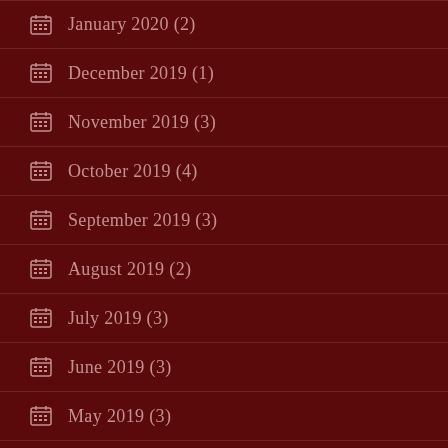January 2020 (2)
December 2019 (1)
November 2019 (3)
October 2019 (4)
September 2019 (3)
August 2019 (2)
July 2019 (3)
June 2019 (3)
May 2019 (3)